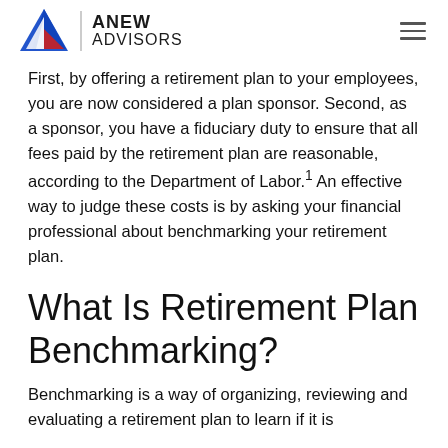ANEW ADVISORS
First, by offering a retirement plan to your employees, you are now considered a plan sponsor. Second, as a sponsor, you have a fiduciary duty to ensure that all fees paid by the retirement plan are reasonable, according to the Department of Labor.¹ An effective way to judge these costs is by asking your financial professional about benchmarking your retirement plan.
What Is Retirement Plan Benchmarking?
Benchmarking is a way of organizing, reviewing and evaluating a retirement plan to learn if it is